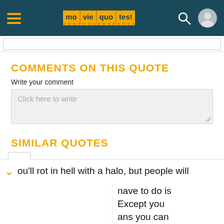moviequotes.com header with navigation logo, search icon, and user icon
COMMENTS ON THIS QUOTE
Write your comment
Click here to write
SIMILAR QUOTES
ou'll rot in hell with a halo, but people will ... have to do is Except you ans you can still have a